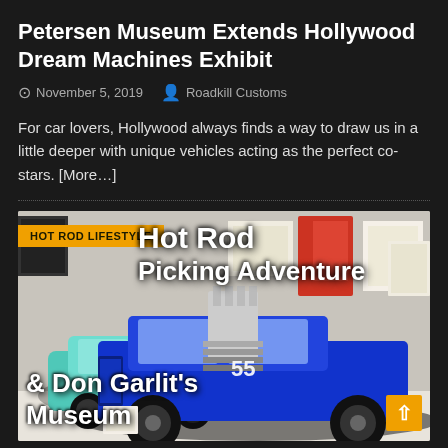Petersen Museum Extends Hollywood Dream Machines Exhibit
November 5, 2019   Roadkill Customs
For car lovers, Hollywood always finds a way to draw us in a little deeper with unique vehicles acting as the perfect co-stars. [More...]
[Figure (photo): Photo of a blue hot rod car on display in a museum, with text overlay reading 'Hot Rod Picking Adventure & Don Garlit's Museum' and a 'HOT ROD LIFESTYLE' badge]
HOT ROD LIFESTYLE — Hot Rod Picking Adventure & Don Garlit's Museum